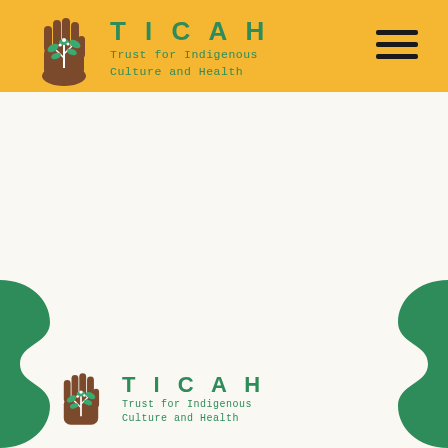[Figure (logo): TICAH (Trust for Indigenous Culture and Health) logo in header: brown hand with teal/green plant/leaves, teal text 'TICAH Trust for Indigenous Culture and Health' on yellow/amber background with hamburger menu icon]
[Figure (logo): TICAH (Trust for Indigenous Culture and Health) logo in footer area: brown hand with teal/green plant/leaves, teal text 'TICAH Trust for Indigenous Culture and Health' on white background with decorative green wavy shapes on left and right sides]